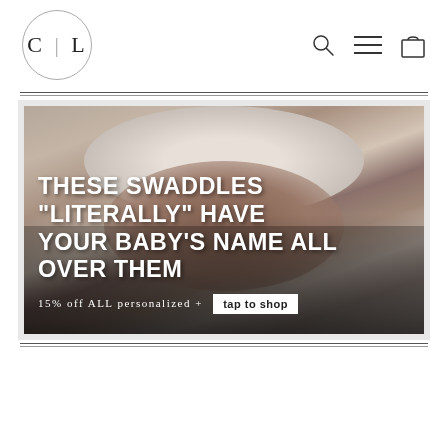[Figure (logo): CL logo in a circle with vertical bar divider between C and L]
[Figure (infographic): Search icon, hamburger menu icon, and shopping bag icon in the top right navigation]
[Figure (photo): Advertisement banner showing a newborn baby being held with white knit hat. Text overlay reads: THESE SWADDLES "LITERALLY" HAVE YOUR BABY'S NAME ALL OVER THEM. 15% off ALL personalized + [tap to shop] button.]